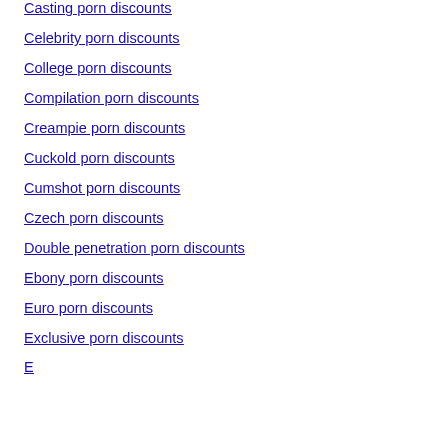Casting porn discounts
Celebrity porn discounts
College porn discounts
Compilation porn discounts
Creampie porn discounts
Cuckold porn discounts
Cumshot porn discounts
Czech porn discounts
Double penetration porn discounts
Ebony porn discounts
Euro porn discounts
Exclusive porn discounts
Farce...